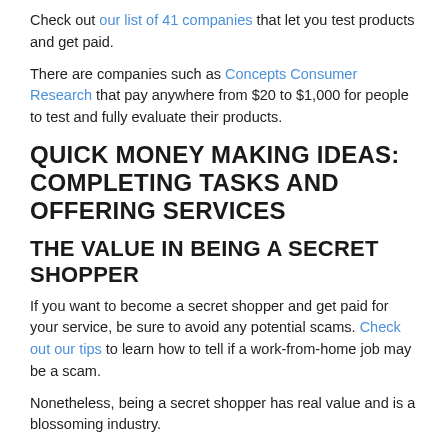Check out our list of 41 companies that let you test products and get paid.
There are companies such as Concepts Consumer Research that pay anywhere from $20 to $1,000 for people to test and fully evaluate their products.
QUICK MONEY MAKING IDEAS: COMPLETING TASKS AND OFFERING SERVICES
THE VALUE IN BEING A SECRET SHOPPER
If you want to become a secret shopper and get paid for your service, be sure to avoid any potential scams. Check out our tips to learn how to tell if a work-from-home job may be a scam.
Nonetheless, being a secret shopper has real value and is a blossoming industry.
To learn which companies are offering the secret shopper position, take a look at North America's Mystery Shopping Providers Association.